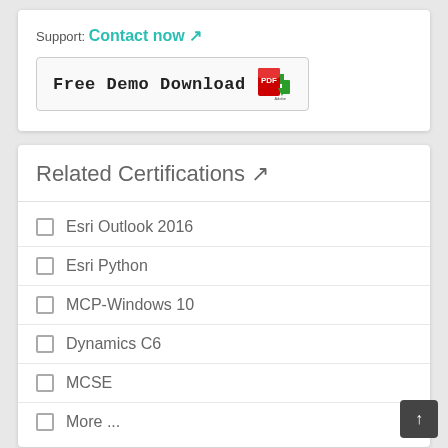Support: Contact now ↗
[Figure (other): Free Demo Download button with PDF icon]
Related Certifications ↗
Esri Outlook 2016
Esri Python
MCP-Windows 10
Dynamics C6
MCSE
More ...